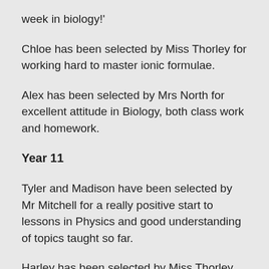week in biology!'
Chloe has been selected by Miss Thorley for working hard to master ionic formulae.
Alex has been selected by Mrs North for excellent attitude in Biology, both class work and homework.
Year 11
Tyler and Madison have been selected by Mr Mitchell for a really positive start to lessons in Physics and good understanding of topics taught so far.
Harley has been selected by Miss Thorley for fantastic contributions to lessons and a brilliant positive start to the year.